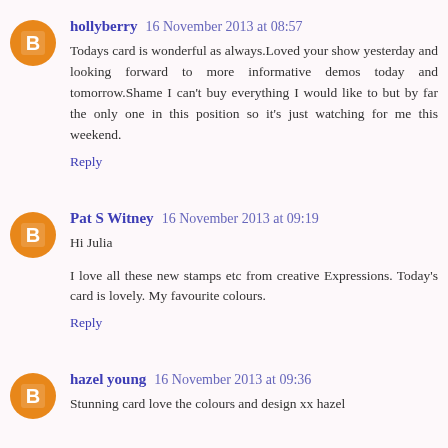hollyberry  16 November 2013 at 08:57
Todays card is wonderful as always.Loved your show yesterday and looking forward to more informative demos today and tomorrow.Shame I can't buy everything I would like to but by far the only one in this position so it's just watching for me this weekend.
Reply
Pat S Witney  16 November 2013 at 09:19
Hi Julia
I love all these new stamps etc from creative Expressions. Today's card is lovely. My favourite colours.
Reply
hazel young  16 November 2013 at 09:36
Stunning card love the colours and design xx hazel